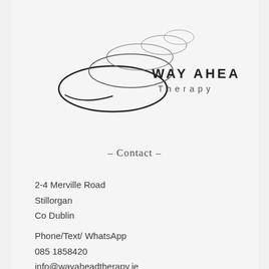[Figure (logo): Way Ahead Therapy logo — overlapping ellipse/loop shapes in black on the left, with text 'WAY AHEAD' in bold spaced capitals and 'Therapy' in lighter spaced letters below on the right]
- Contact -
2-4 Merville Road
Stillorgan
Co Dublin
Phone/Text/ WhatsApp
085 1858420
info@wayaheadtherapy.ie